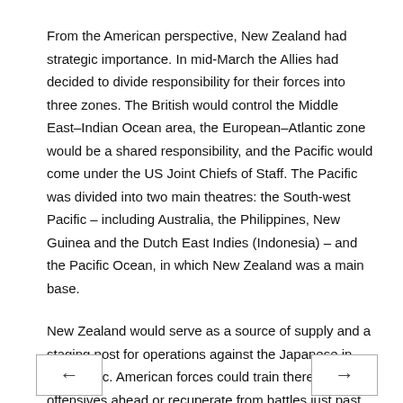From the American perspective, New Zealand had strategic importance. In mid-March the Allies had decided to divide responsibility for their forces into three zones. The British would control the Middle East–Indian Ocean area, the European–Atlantic zone would be a shared responsibility, and the Pacific would come under the US Joint Chiefs of Staff. The Pacific was divided into two main theatres: the South-west Pacific – including Australia, the Philippines, New Guinea and the Dutch East Indies (Indonesia) – and the Pacific Ocean, in which New Zealand was a main base.
New Zealand would serve as a source of supply and a staging post for operations against the Japanese in the Pacific. American forces could train there for offensives ahead or recuperate from battles just past. New Zealand could also provide vegetables and stores for the forces at the front.